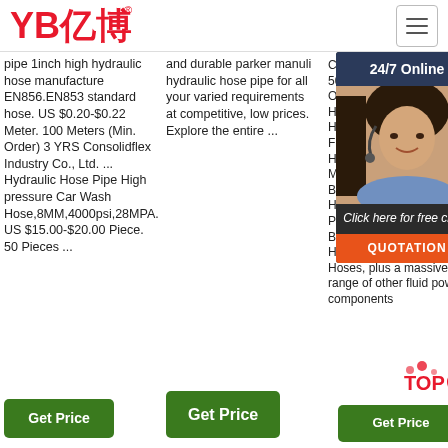[Figure (logo): YB亿博 logo in red with registered trademark symbol]
pipe 1inch high hydraulic hose manufacture EN856.EN853 standard hose. US $0.20-$0.22 Meter. 100 Meters (Min. Order) 3 YRS Consolidflex Industry Co., Ltd. ... Hydraulic Hose Pipe High pressure Car Wash Hose,8MM,4000psi,28MPA. US $15.00-$20.00 Piece. 50 Pieces ...
and durable parker manuli hydraulic hose pipe for all your varied requirements at competitive, low prices. Explore the entire ...
Call en 0333 6000 501 Orig Hos Hyd Fitti Hos Met Bra Hos Plu Bui Hos Hoses, plus a massive range of other fluid power components
[Figure (photo): Customer service representative with headset, 24/7 Online chat box overlay with QUOTATION button]
[Figure (other): TOP badge with red dots decoration]
Get Price (middle column button)
Get Price (left column button)
Get Price (right column button)